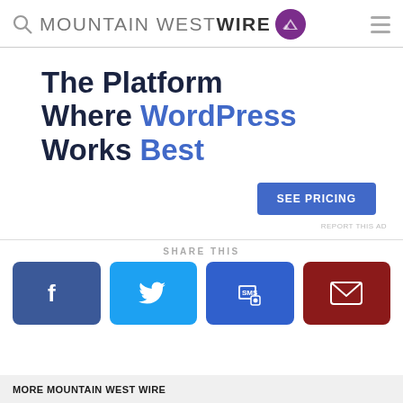MOUNTAIN WEST WIRE
[Figure (screenshot): Advertisement banner: The Platform Where WordPress Works Best, with SEE PRICING button]
REPORT THIS AD
SHARE THIS
[Figure (infographic): Four social share buttons: Facebook, Twitter, SMS, Email]
MORE MOUNTAIN WEST WIRE